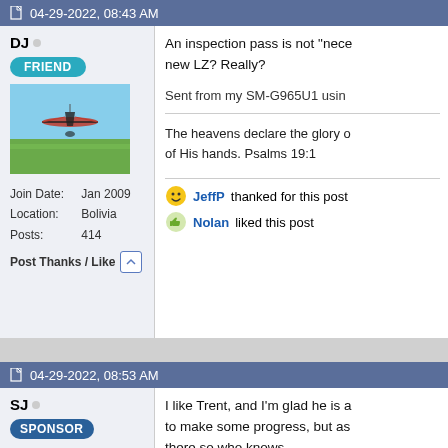04-29-2022, 08:43 AM
DJ
FRIEND
[Figure (photo): Avatar photo of a hang glider or ultralight aircraft in a field]
Join Date: Jan 2009
Location: Bolivia
Posts: 414
Post Thanks / Like
An inspection pass is not "nece new LZ? Really?
Sent from my SM-G965U1 usin
The heavens declare the glory of His hands. Psalms 19:1
JeffP thanked for this post
Nolan liked this post
04-29-2022, 08:53 AM
SJ
SPONSOR
I like Trent, and I'm glad he is a to make some progress, but as there so who knows.